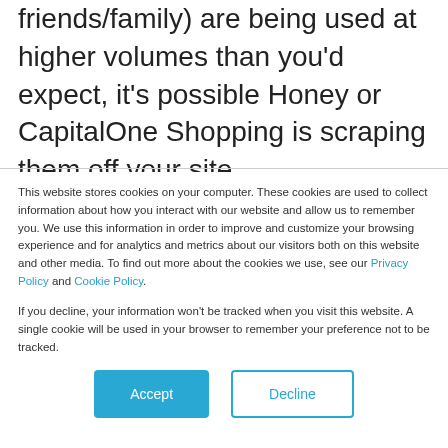friends/family) are being used at higher volumes than you'd expect, it's possible Honey or CapitalOne Shopping is scraping them off your site.
This website stores cookies on your computer. These cookies are used to collect information about how you interact with our website and allow us to remember you. We use this information in order to improve and customize your browsing experience and for analytics and metrics about our visitors both on this website and other media. To find out more about the cookies we use, see our Privacy Policy and Cookie Policy.
If you decline, your information won't be tracked when you visit this website. A single cookie will be used in your browser to remember your preference not to be tracked.